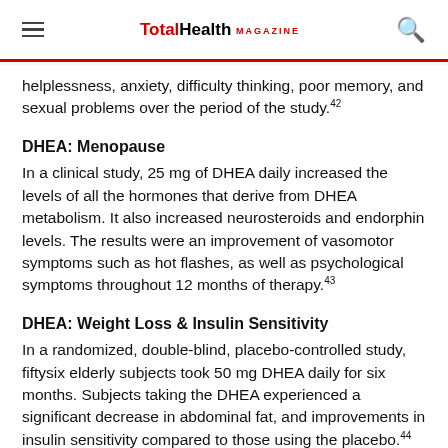TotalHealth MAGAZINE
helplessness, anxiety, difficulty thinking, poor memory, and sexual problems over the period of the study.42
DHEA: Menopause
In a clinical study, 25 mg of DHEA daily increased the levels of all the hormones that derive from DHEA metabolism. It also increased neurosteroids and endorphin levels. The results were an improvement of vasomotor symptoms such as hot flashes, as well as psychological symptoms throughout 12 months of therapy.43
DHEA: Weight Loss & Insulin Sensitivity
In a randomized, double-blind, placebo-controlled study, fiftysix elderly subjects took 50 mg DHEA daily for six months. Subjects taking the DHEA experienced a significant decrease in abdominal fat, and improvements in insulin sensitivity compared to those using the placebo.44